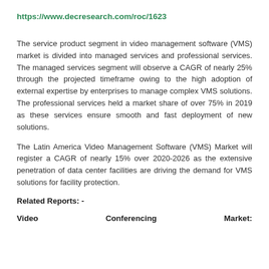https://www.decresearch.com/roc/1623
The service product segment in video management software (VMS) market is divided into managed services and professional services. The managed services segment will observe a CAGR of nearly 25% through the projected timeframe owing to the high adoption of external expertise by enterprises to manage complex VMS solutions. The professional services held a market share of over 75% in 2019 as these services ensure smooth and fast deployment of new solutions.
The Latin America Video Management Software (VMS) Market will register a CAGR of nearly 15% over 2020-2026 as the extensive penetration of data center facilities are driving the demand for VMS solutions for facility protection.
Related Reports: -
Video    Conferencing    Market: